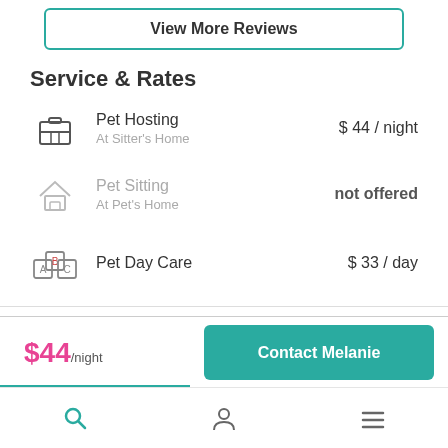View More Reviews
Service & Rates
Pet Hosting / At Sitter's Home — $ 44 / night
Pet Sitting / At Pet's Home — not offered
Pet Day Care — $ 33 / day
$44/night
Contact Melanie